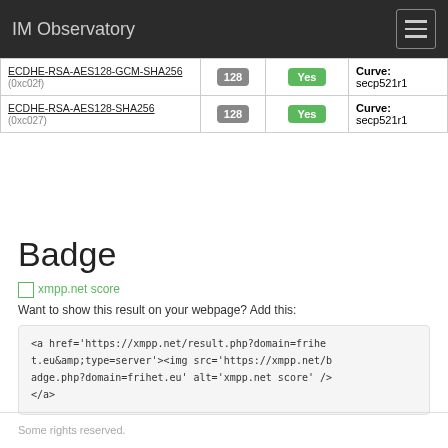IM Observatory
| Cipher | Bits | FS | Notes |
| --- | --- | --- | --- |
| ECDHE-RSA-AES128-GCM-SHA256 (0xc02f) | 128 | Yes | Curve: secp521r1 |
| ECDHE-RSA-AES128-SHA256 (0xc027) | 128 | Yes | Curve: secp521r1 |
Badge
xmpp.net score
Want to show this result on your webpage? Add this:
<a href='https://xmpp.net/result.php?domain=frihet.eu&amp;type=server'><img src='https://xmpp.net/badge.php?domain=frihet.eu' alt='xmpp.net score' /></a>
Some rights reserved.